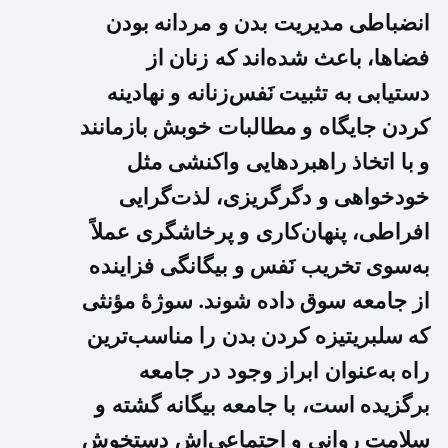...انضباطی مدیریت بدن و مردانه بودن فضاها، باعث شده‌اند که زنان از دستیابی به تثبیت نَفس‌زنانه و نهادینه‌کردن جایگاه و مطالبات خوبش بازمانند و با اتخاذ راهبردهایی واکنشی مثل خودخواهی و دگرگریزی، لذت‌گرایی افراطی، پنهان‌کاری و پرخاشگری عملاً به‌سوی تخریب نَفس و بیگانگی فزاینده از جامعه سوق داده شوند. سوژۀ مؤنثی که سلبریتیزه کردن بدن را مناسب‌ترین راه به‌عنوان ابراز وجود در جامعه برگزیده است، با جامعه بیگانه گشته و سلامت روانی و اجتماعی‌اش دستخوش تهدید می‌شود. نَفس زنانه در این وضعیتِ انسداد اجتماعی از انجام کنش راهگشا ناتوان و به مصرف‌کنندۀ تولیداتِ عامه‌پسندِ فرهنگ مصرفی بدل...